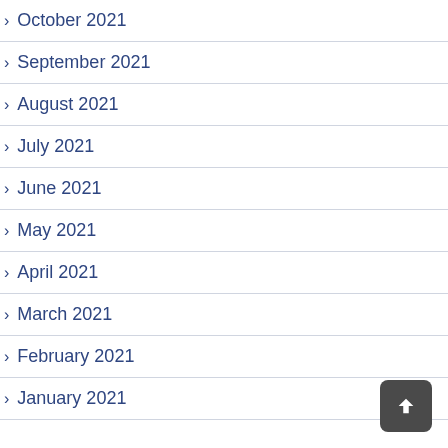October 2021
September 2021
August 2021
July 2021
June 2021
May 2021
April 2021
March 2021
February 2021
January 2021